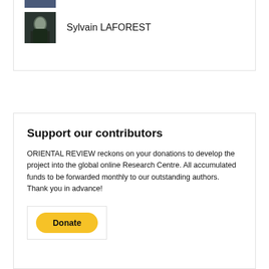[Figure (photo): Partial photo of a person (cropped, top portion only) visible at top of page]
Sylvain LAFOREST
[Figure (photo): Photo of Sylvain LAFOREST, dark background, person wearing dark clothing]
Support our contributors
ORIENTAL REVIEW reckons on your donations to develop the project into the global online Research Centre. All accumulated funds to be forwarded monthly to our outstanding authors. Thank you in advance!
[Figure (other): PayPal Donate button — yellow rounded rectangle button labeled Donate in bold black text, inside a bordered box]